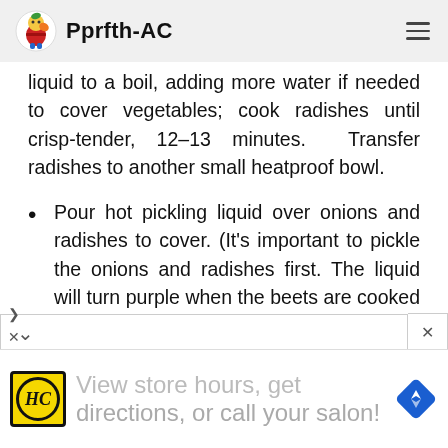Pprfth-AC
liquid to a boil, adding more water if needed to cover vegetables; cook radishes until crisp-tender, 12–13 minutes. Transfer radishes to another small heatproof bowl.
Pour hot pickling liquid over onions and radishes to cover. (It's important to pickle the onions and radishes first. The liquid will turn purple when the beets are cooked in it.) Bring remaining pickling liquid to a boil;
[Figure (infographic): Advertisement banner showing HC logo and text 'View store hours, get directions, or call your salon!' with navigation icon]
View store hours, get directions, or call your salon!